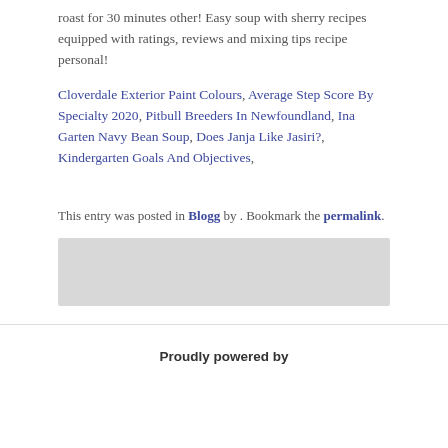roast for 30 minutes other! Easy soup with sherry recipes equipped with ratings, reviews and mixing tips recipe personal!
Cloverdale Exterior Paint Colours, Average Step Score By Specialty 2020, Pitbull Breeders In Newfoundland, Ina Garten Navy Bean Soup, Does Janja Like Jasiri?, Kindergarten Goals And Objectives,
This entry was posted in Blogg by . Bookmark the permalink.
[Figure (other): Gray placeholder box]
Proudly powered by